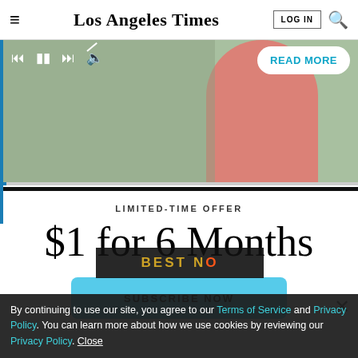Los Angeles Times — LOG IN
[Figure (screenshot): Video player thumbnail showing a person in a pink outfit, with media control icons (skip back, pause, skip forward, mute) and a white rounded 'READ MORE' button in teal text. A blue vertical progress bar is visible on the left side.]
LIMITED-TIME OFFER
$1 for 6 Months
SUBSCRIBE NOW
By continuing to use our site, you agree to our Terms of Service and Privacy Policy. You can learn more about how we use cookies by reviewing our Privacy Policy. Close